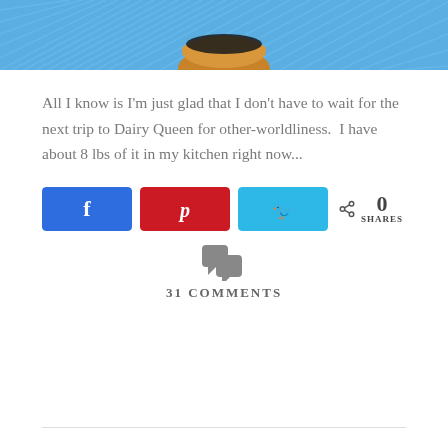[Figure (photo): Photo of a food item (possibly a cookie or pastry) on a blue textured background, partially cropped at top of page]
All I know is I'm just glad that I don't have to wait for the next trip to Dairy Queen for other-worldliness.  I have about 8 lbs of it in my kitchen right now...
[Figure (infographic): Social share buttons: Facebook (blue), Pinterest (red), Twitter (light blue), and a share count showing 0 SHARES]
31 COMMENTS